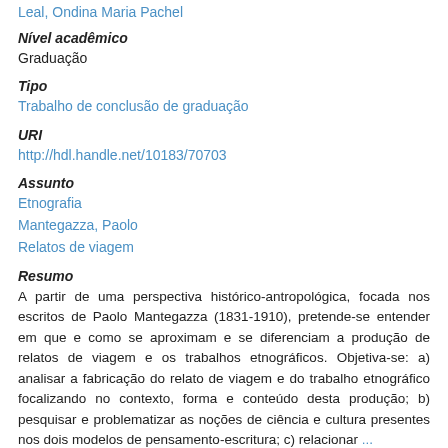Leal, Ondina Maria Pachel
Nível acadêmico
Graduação
Tipo
Trabalho de conclusão de graduação
URI
http://hdl.handle.net/10183/70703
Assunto
Etnografia
Mantegazza, Paolo
Relatos de viagem
Resumo
A partir de uma perspectiva histórico-antropológica, focada nos escritos de Paolo Mantegazza (1831-1910), pretende-se entender em que e como se aproximam e se diferenciam a produção de relatos de viagem e os trabalhos etnográficos. Objetiva-se: a) analisar a fabricação do relato de viagem e do trabalho etnográfico focalizando no contexto, forma e conteúdo desta produção; b) pesquisar e problematizar as noções de ciência e cultura presentes nos dois modelos de pensamento-escritura; c) relacionar ...